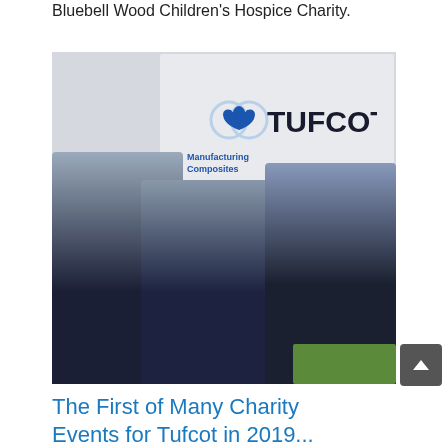Bluebell Wood Children's Hospice Charity.
[Figure (photo): Three people in navy Tufcot branded hoodies posing in front of a TUFCOT company sign, with muddy hands raised, smiling outdoors.]
The First of Many Charity Events for Tufcot in 2019...